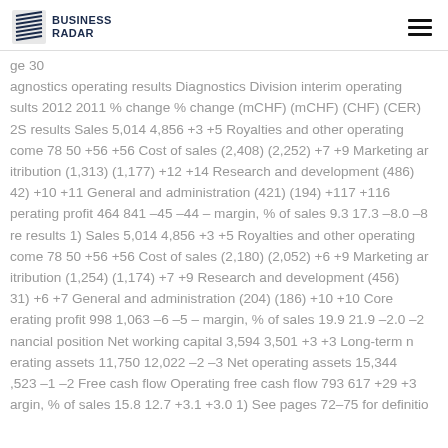Business Radar
ge 30 agnostics operating results Diagnostics Division interim operating sults 2012 2011 % change % change (mCHF) (mCHF) (CHF) (CER) 2S results Sales 5,014 4,856 +3 +5 Royalties and other operating come 78 50 +56 +56 Cost of sales (2,408) (2,252) +7 +9 Marketing ar itribution (1,313) (1,177) +12 +14 Research and development (486) 42) +10 +11 General and administration (421) (194) +117 +116 perating profit 464 841 –45 –44 – margin, % of sales 9.3 17.3 –8.0 –8 re results 1) Sales 5,014 4,856 +3 +5 Royalties and other operating come 78 50 +56 +56 Cost of sales (2,180) (2,052) +6 +9 Marketing ar itribution (1,254) (1,174) +7 +9 Research and development (456) 31) +6 +7 General and administration (204) (186) +10 +10 Core erating profit 998 1,063 –6 –5 – margin, % of sales 19.9 21.9 –2.0 – nancial position Net working capital 3,594 3,501 +3 +3 Long-term n erating assets 11,750 12,022 –2 –3 Net operating assets 15,344 ,523 –1 –2 Free cash flow Operating free cash flow 793 617 +29 +3 argin, % of sales 15.8 12.7 +3.1 +3.0 1) See pages 72–75 for definitio